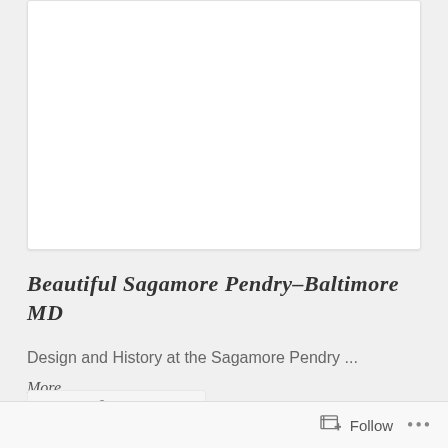[Figure (photo): White card/image placeholder area at top of blog post]
Beautiful Sagamore Pendry–Baltimore MD
Design and History at the Sagamore Pendry ... More
[Figure (other): Action bar with comment and share icons]
Follow ...